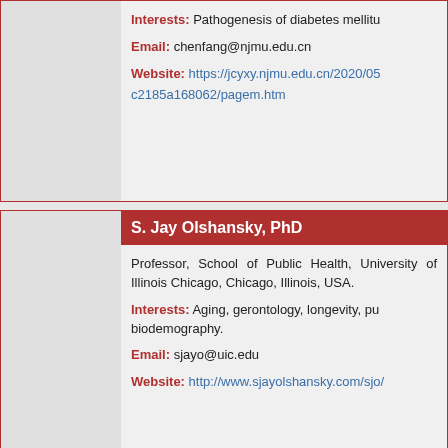Interests: Pathogenesis of diabetes mellitu...
Email: chenfang@njmu.edu.cn
Website: https://jcyxy.njmu.edu.cn/2020/05... c2185a168062/pagem.htm
S. Jay Olshansky, PhD
Professor, School of Public Health, University of Illinois Chicago, Chicago, Illinois, USA.
Interests: Aging, gerontology, longevity, pu... biodemography.
Email: sjayo@uic.edu
Website: http://www.sjayolshansky.com/sjo/...